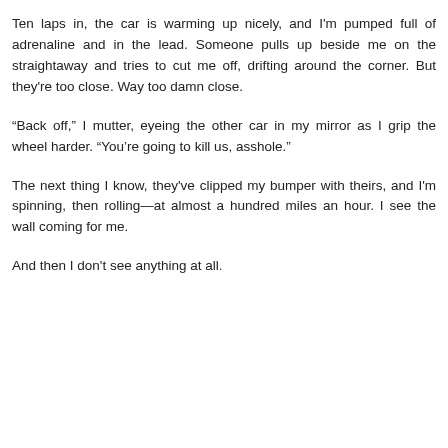Ten laps in, the car is warming up nicely, and I'm pumped full of adrenaline and in the lead. Someone pulls up beside me on the straightaway and tries to cut me off, drifting around the corner. But they're too close. Way too damn close.
“Back off,” I mutter, eyeing the other car in my mirror as I grip the wheel harder. “You’re going to kill us, asshole.”
The next thing I know, they've clipped my bumper with theirs, and I'm spinning, then rolling—at almost a hundred miles an hour. I see the wall coming for me.
And then I don't see anything at all.